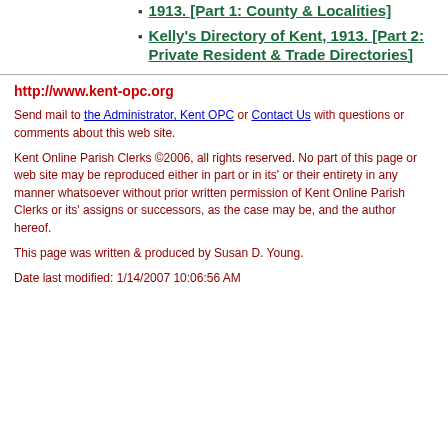1913. [Part 1: County & Localities]
Kelly's Directory of Kent, 1913. [Part 2: Private Resident & Trade Directories]
http://www.kent-opc.org
Send mail to the Administrator, Kent OPC or Contact Us with questions or comments about this web site.
Kent Online Parish Clerks ©2006, all rights reserved. No part of this page or web site may be reproduced either in part or in its' or their entirety in any manner whatsoever without prior written permission of Kent Online Parish Clerks or its' assigns or successors, as the case may be, and the author hereof.
This page was written & produced by Susan D. Young.
Date last modified:  1/14/2007 10:06:56 AM